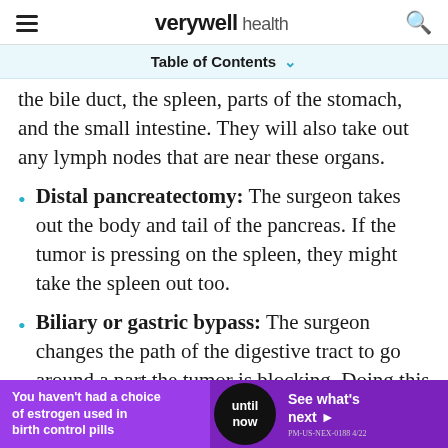verywell health
Table of Contents
the bile duct, the spleen, parts of the stomach, and the small intestine. They will also take out any lymph nodes that are near these organs.
Distal pancreatectomy: The surgeon takes out the body and tail of the pancreas. If the tumor is pressing on the spleen, they might take the spleen out too.
Biliary or gastric bypass: The surgeon changes the path of the digestive tract to go around a part the tumor is blocking. Doing this can